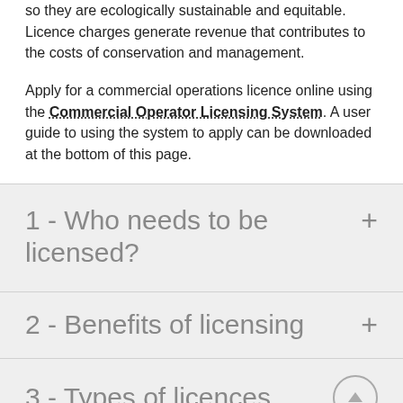so they are ecologically sustainable and equitable. Licence charges generate revenue that contributes to the costs of conservation and management.
Apply for a commercial operations licence online using the Commercial Operator Licensing System. A user guide to using the system to apply can be downloaded at the bottom of this page.
1 - Who needs to be licensed?
2 - Benefits of licensing
3 - Types of licences